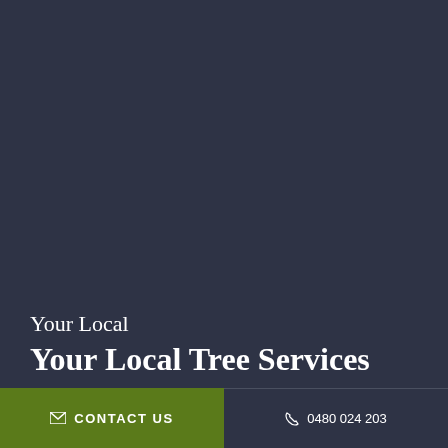[Figure (other): Dark navy blue background covering the main area of the page with a white bar at the top]
Your Local
Your Local Tree Services
✉ CONTACT US
✆ 0480 024 203